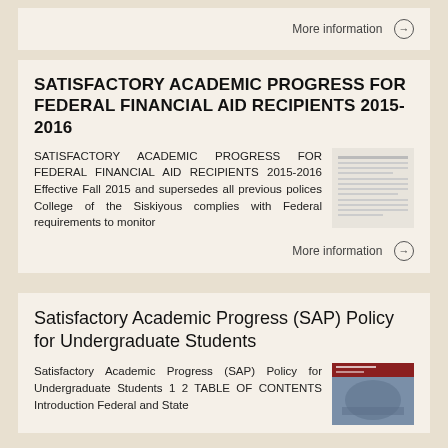More information →
SATISFACTORY ACADEMIC PROGRESS FOR FEDERAL FINANCIAL AID RECIPIENTS 2015-2016
SATISFACTORY ACADEMIC PROGRESS FOR FEDERAL FINANCIAL AID RECIPIENTS 2015-2016 Effective Fall 2015 and supersedes all previous polices College of the Siskiyous complies with Federal requirements to monitor
More information →
Satisfactory Academic Progress (SAP) Policy for Undergraduate Students
Satisfactory Academic Progress (SAP) Policy for Undergraduate Students 1 2 TABLE OF CONTENTS Introduction Federal and State